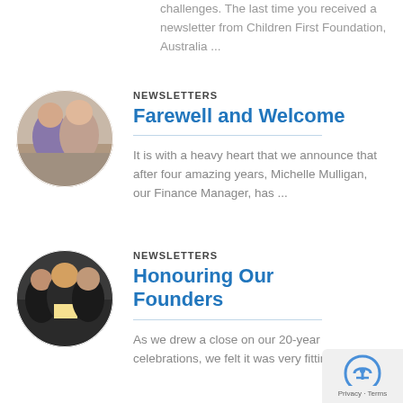challenges. The last time you received a newsletter from Children First Foundation, Australia ...
NEWSLETTERS
[Figure (photo): Circular photo of two women smiling together indoors]
Farewell and Welcome
It is with a heavy heart that we announce that after four amazing years, Michelle Mulligan, our Finance Manager, has ...
NEWSLETTERS
[Figure (photo): Circular photo of men in formal wear at an event, one holding a certificate]
Honouring Our Founders
As we drew a close on our 20-year celebrations, we felt it was very fitting to